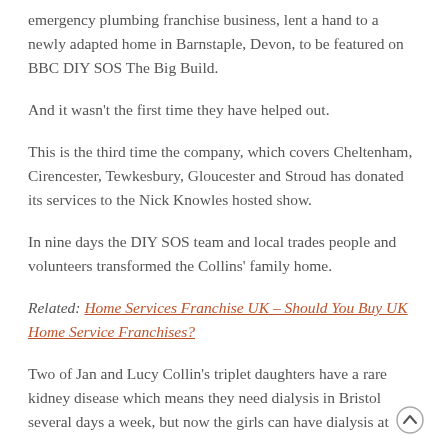emergency plumbing franchise business, lent a hand to a newly adapted home in Barnstaple, Devon, to be featured on BBC DIY SOS The Big Build.
And it wasn't the first time they have helped out.
This is the third time the company, which covers Cheltenham, Cirencester, Tewkesbury, Gloucester and Stroud has donated its services to the Nick Knowles hosted show.
In nine days the DIY SOS team and local trades people and volunteers transformed the Collins' family home.
Related: Home Services Franchise UK – Should You Buy UK Home Service Franchises?
Two of Jan and Lucy Collin's triplet daughters have a rare kidney disease which means they need dialysis in Bristol several days a week, but now the girls can have dialysis at